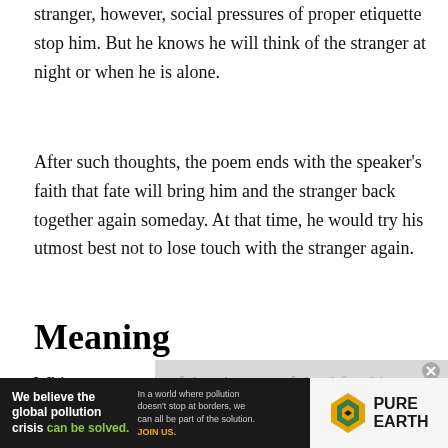stranger, however, social pressures of proper etiquette stop him. But he knows he will think of the stranger at night or when he is alone.
After such thoughts, the poem ends with the speaker's faith that fate will bring him and the stranger back together again someday. At that time, he would try his utmost best not to lose touch with the stranger again.
Meaning
Whitman was one of the pioneers of the —
[Figure (other): Advertisement banner for Pure Earth: 'We believe the global pollution crisis can be solved.' with logo and tagline 'In a world where pollution doesn't stop at borders, we can all be part of the solution. JOIN US.']